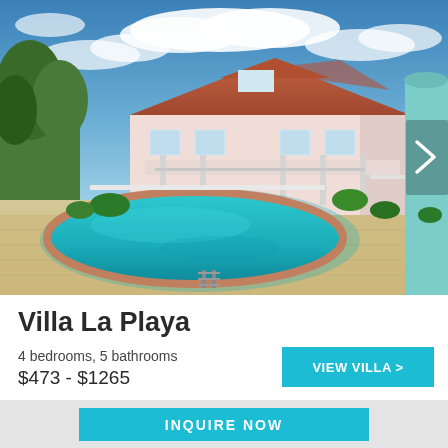[Figure (photo): Exterior photo of Villa La Playa showing a large pink/white house with red roof, swimming pool in foreground, tropical landscaping, and blue sky with clouds. A white arrow on the right side indicates a carousel next button.]
Villa La Playa
4 bedrooms, 5 bathrooms
$473 - $1265
VIEW VILLA >
INQUIRE NOW